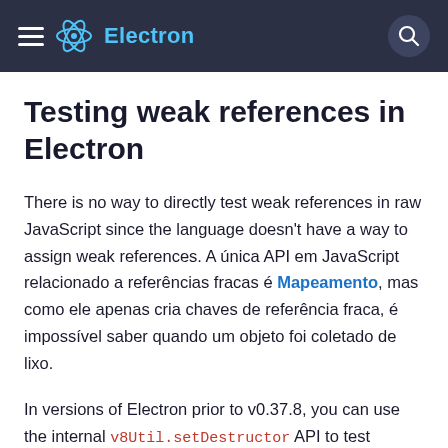Electron
Testing weak references in Electron
There is no way to directly test weak references in raw JavaScript since the language doesn't have a way to assign weak references. A única API em JavaScript relacionado a referências fracas é Mapeamento, mas como ele apenas cria chaves de referência fraca, é impossível saber quando um objeto foi coletado de lixo.
In versions of Electron prior to v0.37.8, you can use the internal v8Util.setDestructor API to test